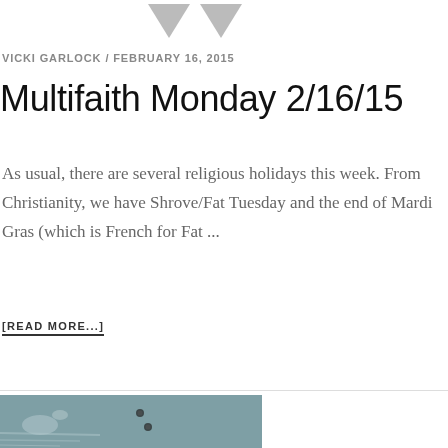[Figure (illustration): Partial graphic at top of page showing decorative arrow or navigation elements in gray]
VICKI GARLOCK / FEBRUARY 16, 2015
Multifaith Monday 2/16/15
As usual, there are several religious holidays this week. From Christianity, we have Shrove/Fat Tuesday and the end of Mardi Gras (which is French for Fat ...
[READ MORE...]
[Figure (photo): Bottom portion of a photograph showing a blurry outdoor scene with water droplets or bokeh light effects on a grayish-green background]